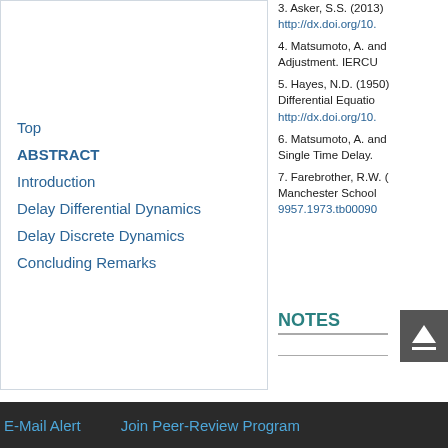3. Asker, S.S. (2013) http://dx.doi.org/10....
4. Matsumoto, A. and Adjustment. IERCU
5. Hayes, N.D. (1950) Differential Equations http://dx.doi.org/10....
6. Matsumoto, A. and Single Time Delay.
7. Farebrother, R.W. ( Manchester School 9957.1973.tb00090...
Top
ABSTRACT
Introduction
Delay Differential Dynamics
Delay Discrete Dynamics
Concluding Remarks
NOTES
E-Mail Alert    Join Peer-Review Program